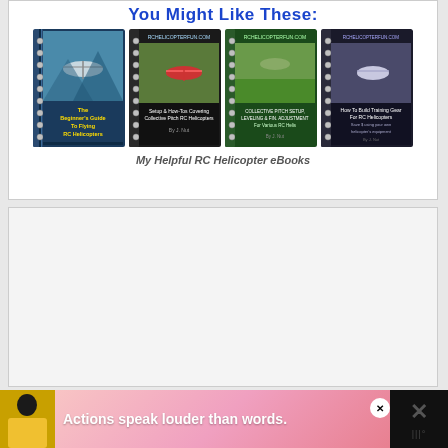You Might Like These:
[Figure (illustration): Four RC Helicopter eBook covers displayed side by side in a row, each showing a spiral-bound book with helicopter-related imagery and titles on green/dark covers.]
My Helpful RC Helicopter eBooks
[Figure (screenshot): A mostly blank/grey content area with social media UI elements: a teal heart/like button, a white share button with plus icon, and a 'WHAT'S NEXT' card showing 'Best RC Battery...' with a thumbnail image.]
[Figure (photo): Advertisement banner at the bottom: black background on left with a person in yellow jacket, pink gradient background with text 'Actions speak louder than words.', close button, and X button on the right.]